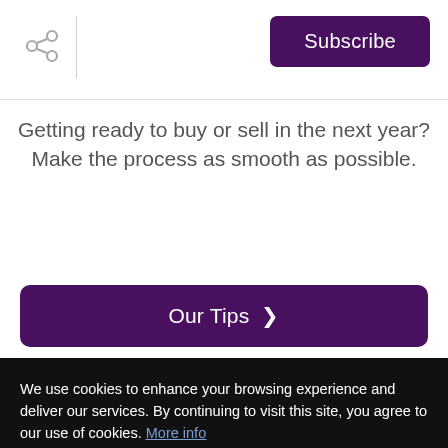Subscribe
Getting ready to buy or sell in the next year? Make the process as smooth as possible.
Our Tips >
[Figure (logo): FastExpert Five Star Agent badge with blue circular logo and yellow ribbon]
We use cookies to enhance your browsing experience and deliver our services. By continuing to visit this site, you agree to our use of cookies. More info
OK